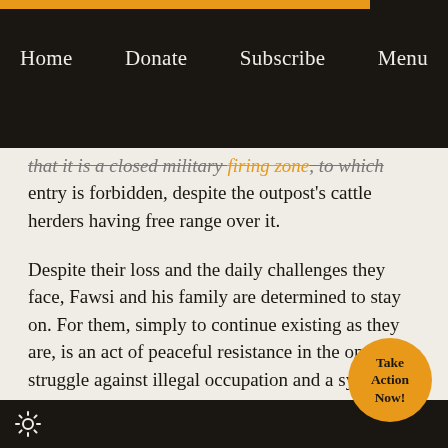Home   Donate   Subscribe   Menu
that it is a closed military firing zone, to which entry is forbidden, despite the outpost's cattle herders having free range over it.
Despite their loss and the daily challenges they face, Fawsi and his family are determined to stay on. For them, simply to continue existing as they are, is an act of peaceful resistance in the on-going struggle against illegal occupation and a system of governance that actively discriminates against them.